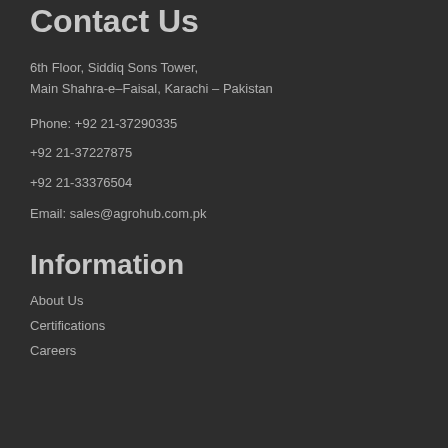Contact Us
6th Floor, Siddiq Sons Tower,
Main Shahra-e-Faisal, Karachi – Pakistan
Phone: +92 21-37290335
+92 21-37227875
+92 21-33376504
Email: sales@agrohub.com.pk
Information
About Us
Certifications
Careers